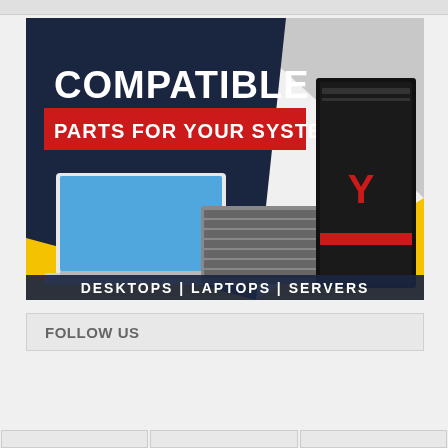[Figure (illustration): Advertisement banner showing compatible computer parts for desktops, laptops, and servers. Dark blue and yellow background with text 'COMPATIBLE' in large white letters, 'PARTS FOR YOUR SYSTEM' on a red banner, and images of a laptop, server rack, and gaming desktop tower. Bottom text reads 'DESKTOPS | LAPTOPS | SERVERS'.]
FOLLOW US